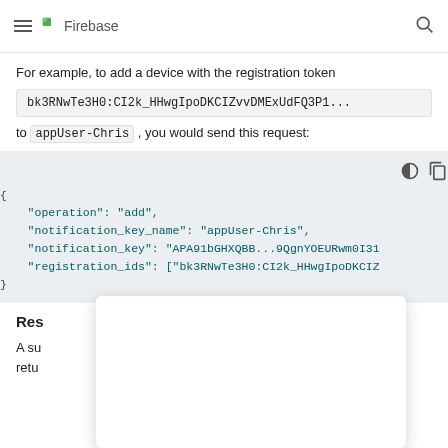Firebase
For example, to add a device with the registration token bk3RNwTe3H0:CI2k_HHwgIpoDKCIZvvDMExUdFQ3P1... to appUser-Chris , you would send this request:
[Figure (screenshot): Code block showing JSON request with fields operation, notification_key_name, notification_key, registration_ids]
Res
A su retu